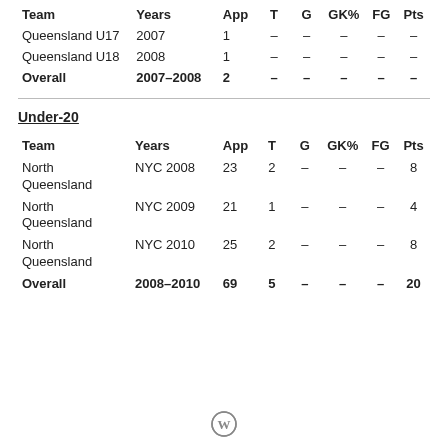| Team | Years | App | T | G | GK% | FG | Pts |
| --- | --- | --- | --- | --- | --- | --- | --- |
| Queensland U17 | 2007 | 1 | – | – | – | – | – |
| Queensland U18 | 2008 | 1 | – | – | – | – | – |
| Overall | 2007–2008 | 2 | – | – | – | – | – |
Under-20
| Team | Years | App | T | G | GK% | FG | Pts |
| --- | --- | --- | --- | --- | --- | --- | --- |
| North Queensland | NYC 2008 | 23 | 2 | – | – | – | 8 |
| North Queensland | NYC 2009 | 21 | 1 | – | – | – | 4 |
| North Queensland | NYC 2010 | 25 | 2 | – | – | – | 8 |
| Overall | 2008–2010 | 69 | 5 | – | – | – | 20 |
[Figure (logo): WordPress logo icon]